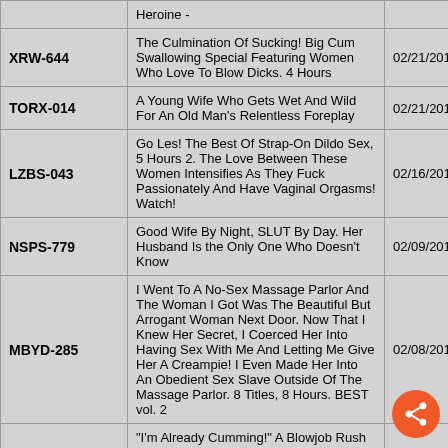| ID | Title | Date |
| --- | --- | --- |
|  | Heroine - |  |
| XRW-644 | The Culmination Of Sucking! Big Cum Swallowing Special Featuring Women Who Love To Blow Dicks. 4 Hours | 02/21/2019 |
| TORX-014 | A Young Wife Who Gets Wet And Wild For An Old Man's Relentless Foreplay | 02/21/2019 |
| LZBS-043 | Go Les! The Best Of Strap-On Dildo Sex, 5 Hours 2. The Love Between These Women Intensifies As They Fuck Passionately And Have Vaginal Orgasms! Watch! | 02/16/2019 |
| NSPS-779 | Good Wife By Night, SLUT By Day. Her Husband Is the Only One Who Doesn't Know | 02/09/2019 |
| MBYD-285 | I Went To A No-Sex Massage Parlor And The Woman I Got Was The Beautiful But Arrogant Woman Next Door. Now That I Knew Her Secret, I Coerced Her Into Having Sex With Me And Letting Me Give Her A Creampie! I Even Made Her Into An Obedient Sex Slave Outside Of The Massage Parlor. 8 Titles, 8 Hours. BEST vol. 2 | 02/08/2019 |
| MIZD-123 | "I'm Already Cumming!" A Blowjob Rush To The Max In Orgasmic Ecstasy 100 Consecutive Cum Shots | 01/25/2019 |
|  | A Humiliated Female Investigator Loses Her Mind And Orgasms As Her Body Is |  |